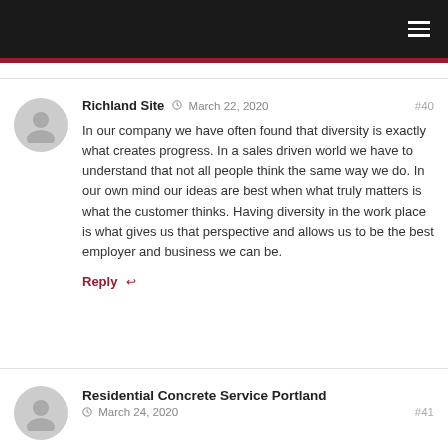Navigation bar with hamburger menu
Richland Site  March 22, 2020  #40
In our company we have often found that diversity is exactly what creates progress. In a sales driven world we have to understand that not all people think the same way we do. In our own mind our ideas are best when what truly matters is what the customer thinks. Having diversity in the work place is what gives us that perspective and allows us to be the best employer and business we can be.
Reply
Residential Concrete Service Portland  March 24, 2020  #41